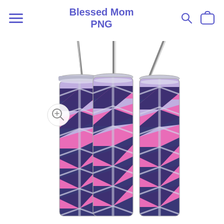Blessed Mom PNG
[Figure (photo): Three tall skinny tumblers with metal straws, decorated with a chevron/herringbone pattern in pink glitter, dark navy floral, and light purple sections. The tumblers have silver metallic lids and straws. A zoom-in magnifier icon overlay appears on the left tumbler.]